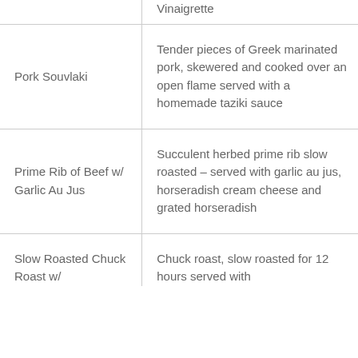| Item | Description |
| --- | --- |
|  | Vinaigrette |
| Pork Souvlaki | Tender pieces of Greek marinated pork, skewered and cooked over an open flame served with a homemade taziki sauce |
| Prime Rib of Beef w/ Garlic Au Jus | Succulent herbed prime rib slow roasted – served with garlic au jus, horseradish cream cheese and grated horseradish |
| Slow Roasted Chuck Roast w/ | Chuck roast, slow roasted for 12 hours served with |